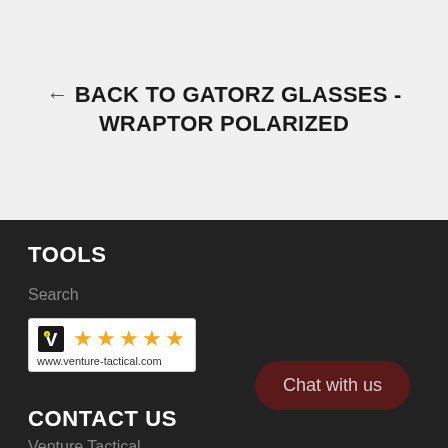← BACK TO GATORZ GLASSES - WRAPTOR POLARIZED
TOOLS
Search
[Figure (logo): Venture Tactical five-star rating badge with logo and URL www.venture-tactical.com]
CONTACT US
Venture Tactical